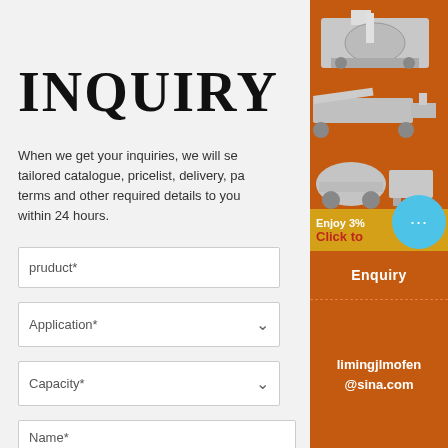INQUIRY
When we get your inquiries, we will send tailored catalogue, pricelist, delivery, payment terms and other required details to you within 24 hours.
pruduct*
Application*
Capacity*
Name*
[Figure (photo): Orange sidebar advertisement with industrial mining machinery images (crusher, conveyor, ball mill), enjoy 3% discount banner, chat bubble icon, Enquiry button, and limingjlmofen@sina.com contact info]